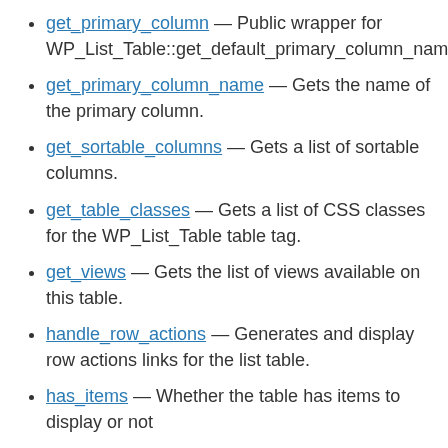get_primary_column — Public wrapper for WP_List_Table::get_default_primary_column_nam
get_primary_column_name — Gets the name of the primary column.
get_sortable_columns — Gets a list of sortable columns.
get_table_classes — Gets a list of CSS classes for the WP_List_Table table tag.
get_views — Gets the list of views available on this table.
handle_row_actions — Generates and display row actions links for the list table.
has_items — Whether the table has items to display or not
months_dropdown — Displays a dropdown for filtering items in the list table by month.
no_items — Message to be displayed when there are no items